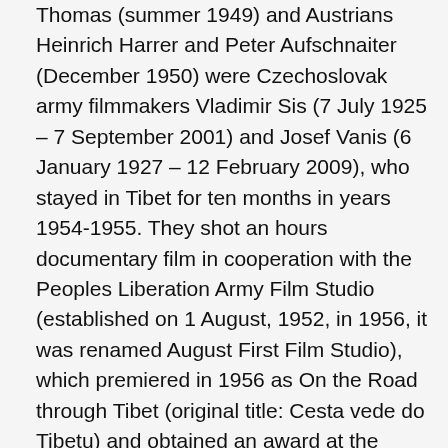Thomas (summer 1949) and Austrians Heinrich Harrer and Peter Aufschnaiter (December 1950) were Czechoslovak army filmmakers Vladimir Sis (7 July 1925 – 7 September 2001) and Josef Vanis (6 January 1927 – 12 February 2009), who stayed in Tibet for ten months in years 1954-1955. They shot an hours documentary film in cooperation with the Peoples Liberation Army Film Studio (established on 1 August, 1952, in 1956, it was renamed August First Film Studio), which premiered in 1956 as On the Road through Tibet (original title: Cesta vede do Tibetu) and obtained an award at the Venice festival. The film captured the construction of a strategic military road from Ya-an to Lhasa, which was mainly built by Chinese soldiers and workers but also Tibetans. Vanis and Sis also published books with a number of photographs and they made TV coverages. Due to the dispute between Beijing and Moscow in 1959, this topic became a taboo in Czechoslovakia until the fall of communism in 1989. Besides these official published outcomes of their